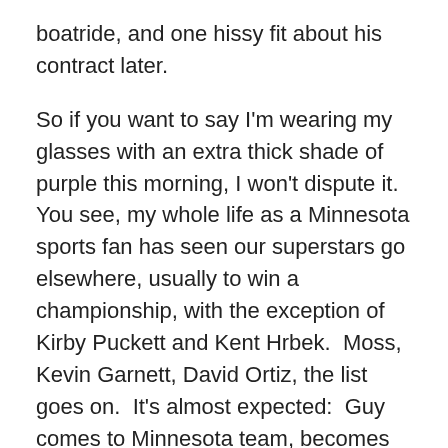boatride, and one hissy fit about his contract later.
So if you want to say I'm wearing my glasses with an extra thick shade of purple this morning, I won't dispute it.  You see, my whole life as a Minnesota sports fan has seen our superstars go elsewhere, usually to win a championship, with the exception of Kirby Puckett and Kent Hrbek.  Moss, Kevin Garnett, David Ortiz, the list goes on.  It's almost expected:  Guy comes to Minnesota team, becomes great, goes to New York or Boston.  Wash.  Lather.  Rinse.  Repeat.
Now, since Zygi Wilf has become owner, the shoe is on the other foot.  I saw someone comment either here or on anther site about this trade that Wilf is now like Dan Snyder.  I couldn't disagree more.  Wilf signs players that are immediate needs for the Vikings and makes